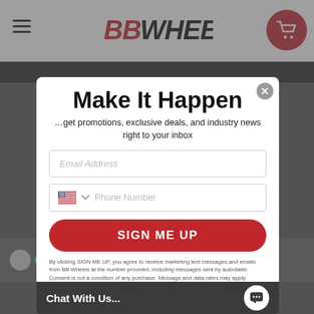[Figure (screenshot): BB Wheels website header with hamburger menu, BB Wheels logo in red italic serif font, and red circular cart icon]
Make It Happen
…get promotions, exclusive deals, and industry news right to your inbox
Email Address
Phone Number
SIGN ME UP
By clicking SIGN ME UP, you agree to receive marketing text messages and emails from BB Wheels at the number provided, including messages sent by autodialer. Consent is not a condition of any purchase. Message and data rates may apply. Message frequency varies. Reply HELP for help or STOP to cancel. We process your data as stated in our Privacy Policy
Chat With Us...
I love it
I love it